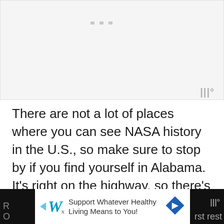[Figure (photo): Light gray image placeholder area with three small gray dots at top center and a watermark symbol at bottom right]
There are not a lot of places where you can see NASA history in the U.S., so make sure to stop by if you find yourself in Alabama. It's right on the highway, so there's no excuse not to stop!
This shuttle is especially cool place to stop on a
[Figure (infographic): Black advertisement bar at bottom with Walgreens ad: Support Whatever Healthy Living Means to You! with blue diamond arrow icon]